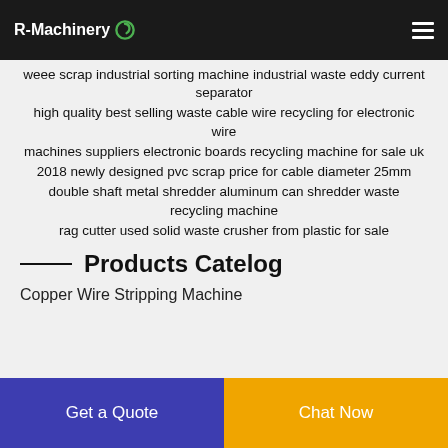R-Machinery
weee scrap industrial sorting machine industrial waste eddy current separator
high quality best selling waste cable wire recycling for electronic wire
machines suppliers electronic boards recycling machine for sale uk
2018 newly designed pvc scrap price for cable diameter 25mm
double shaft metal shredder aluminum can shredder waste recycling machine
rag cutter used solid waste crusher from plastic for sale
Products Catelog
Copper Wire Stripping Machine